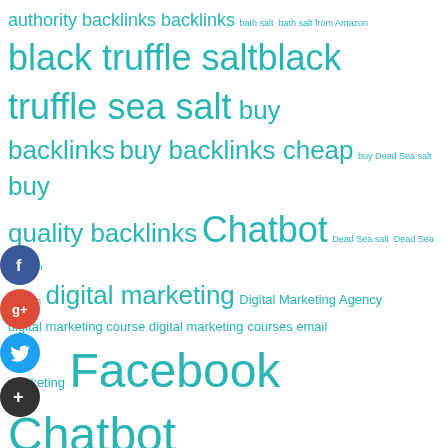[Figure (infographic): Tag cloud with terms related to digital marketing, chatbots, backlinks, and salt products, displayed in teal/cyan color in varying font sizes indicating frequency/importance. Social media icons (Facebook, Google+, Twitter, Add) appear on the left side.]